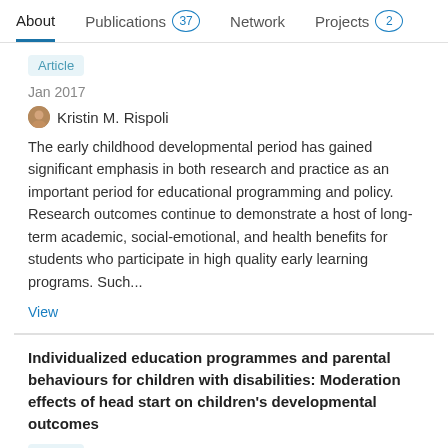About | Publications 37 | Network | Projects 2
Article
Jan 2017
Kristin M. Rispoli
The early childhood developmental period has gained significant emphasis in both research and practice as an important period for educational programming and policy. Research outcomes continue to demonstrate a host of long-term academic, social-emotional, and health benefits for students who participate in high quality early learning programs. Such...
View
Individualized education programmes and parental behaviours for children with disabilities: Moderation effects of head start on children's developmental outcomes
Article
Sep 2016